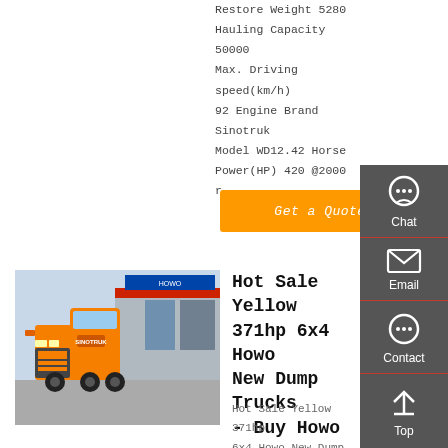Restore Weight 5280 Hauling Capacity 50000 Max. Driving speed(km/h) 92 Engine Brand Sinotruk Model WD12.42 Horse Power(HP) 420 @2000 r
Get a Quote
[Figure (photo): Orange HOWO dump truck parked in front of a dealership with blue signage]
Hot Sale Yellow 371hp 6x4 Howo New Dump Trucks - Buy Howo
Hot Sale Yellow 371hp 6x4 Howo New Dump Trucks, Find Complete